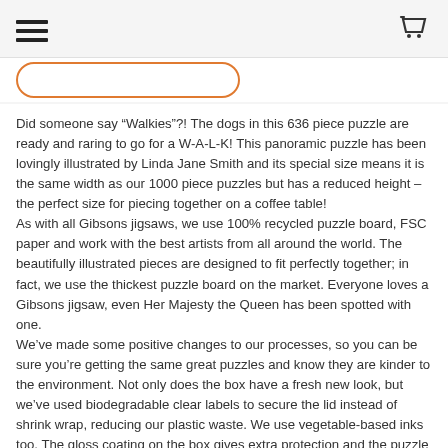[hamburger menu icon] [shopping cart icon]
Did someone say “Walkies”?! The dogs in this 636 piece puzzle are ready and raring to go for a W-A-L-K! This panoramic puzzle has been lovingly illustrated by Linda Jane Smith and its special size means it is the same width as our 1000 piece puzzles but has a reduced height – the perfect size for piecing together on a coffee table!
As with all Gibsons jigsaws, we use 100% recycled puzzle board, FSC paper and work with the best artists from all around the world. The beautifully illustrated pieces are designed to fit perfectly together; in fact, we use the thickest puzzle board on the market. Everyone loves a Gibsons jigsaw, even Her Majesty the Queen has been spotted with one.
We’ve made some positive changes to our processes, so you can be sure you’re getting the same great puzzles and know they are kinder to the environment. Not only does the box have a fresh new look, but we’ve used biodegradable clear labels to secure the lid instead of shrink wrap, reducing our plastic waste. We use vegetable-based inks too. The gloss coating on the box gives extra protection and the puzzle pieces are stored in a plastic bag that can be recycled by most councils.
Because the box is slightly smaller than our previous designs,